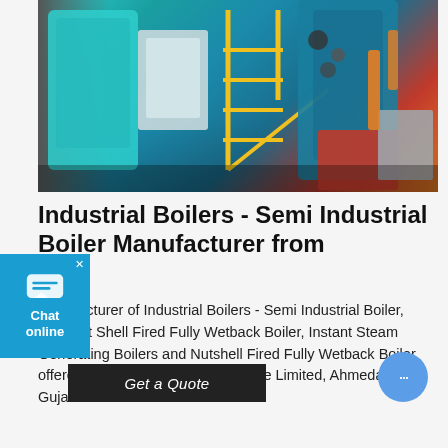[Figure (photo): Industrial boiler room with large teal-colored boiler equipment, yellow metal staircase/railings, red and orange machinery components, pipes and gauges visible]
Industrial Boilers - Semi Industrial Boiler Manufacturer from
Manufacturer of Industrial Boilers - Semi Industrial Boiler, Coconut Shell Fired Fully Wetback Boiler, Instant Steam Generating Boilers and Nutshell Fired Fully Wetback Boiler offered by Balkrishna Boilers Private Limited, Ahmedabad, Gujarat.